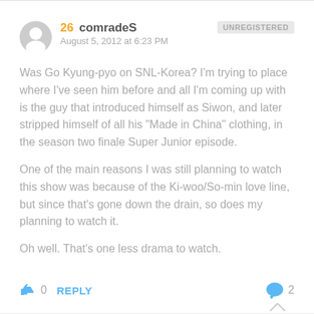26  comradeS  UNREGISTERED
August 5, 2012 at 6:23 PM
Was Go Kyung-pyo on SNL-Korea? I'm trying to place where I've seen him before and all I'm coming up with is the guy that introduced himself as Siwon, and later stripped himself of all his "Made in China" clothing, in the season two finale Super Junior episode.
One of the main reasons I was still planning to watch this show was because of the Ki-woo/So-min love line, but since that's gone down the drain, so does my planning to watch it.
Oh well. That's one less drama to watch.
👍 0  REPLY   💬 2